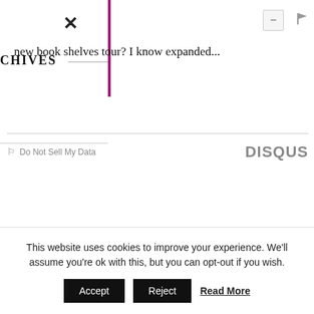×
CHIVES
new book shelves tour? I know expanded...
Do Not Sell My Data  DISQUS
HELLO!
This website uses cookies to improve your experience. We'll assume you're ok with this, but you can opt-out if you wish.
Accept   Reject   Read More